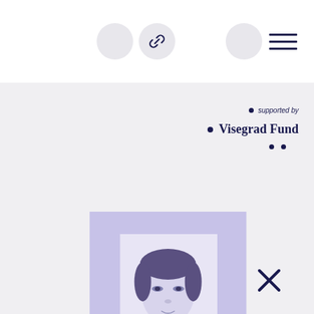[Figure (other): Navigation bar with circular icon buttons and a link icon, plus a hamburger menu icon]
supported by
Visegrad Fund
[Figure (photo): Purple-tinted passport-style portrait photo of a young woman with short dark hair, centered on a lavender background square]
[Figure (other): Close (X) button in dark navy/purple color at bottom right]